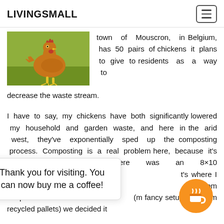LIVINGSMALL
[Figure (photo): A brown/orange chicken standing on grass, photographed outdoors.]
town of Mouscron, in Belgium, has 50 pairs of chickens it plans to give to residents as a way to decrease the waste stream.
I have to say, my chickens have both significantly lowered my household and garden waste, and here in the arid west, they've exponentially sped up the composting process. Composting is a real problem here, because it's so dry. Because there was an 8×10 concre t's where I built com heaps (m fancy setup built from recycled pallets) we decided it
Thank you for visiting. You can now buy me a coffee!